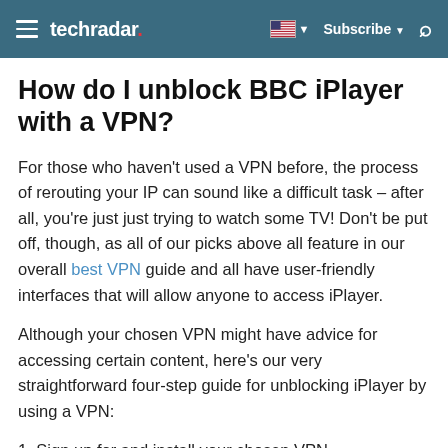techradar
How do I unblock BBC iPlayer with a VPN?
For those who haven't used a VPN before, the process of rerouting your IP can sound like a difficult task – after all, you're just just trying to watch some TV! Don't be put off, though, as all of our picks above all feature in our overall best VPN guide and all have user-friendly interfaces that will allow anyone to access iPlayer.
Although your chosen VPN might have advice for accessing certain content, here's our very straightforward four-step guide for unblocking iPlayer by using a VPN:
1. Sign up for and install your chosen VPN.